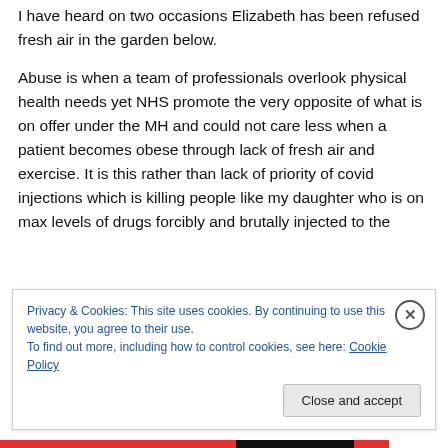I have heard on two occasions Elizabeth has been refused fresh air in the garden below.
Abuse is when a team of professionals overlook physical health needs yet NHS promote the very opposite of what is on offer under the MH and could not care less when a patient becomes obese through lack of fresh air and exercise. It is this rather than lack of priority of covid injections which is killing people like my daughter who is on max levels of drugs forcibly and brutally injected to the
Privacy & Cookies: This site uses cookies. By continuing to use this website, you agree to their use.
To find out more, including how to control cookies, see here: Cookie Policy